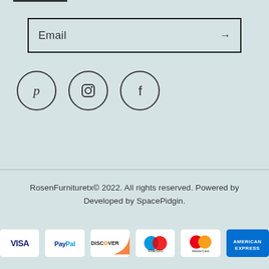[Figure (other): Email subscription input box with arrow button]
[Figure (other): Social media icons: Pinterest, Instagram, Facebook in circles]
RosenFurnituretx© 2022. All rights reserved. Powered by Developed by SpacePidgin.
[Figure (other): Payment method icons: VISA, PayPal, DISCOVER, Maestro, MasterCard, American Express]